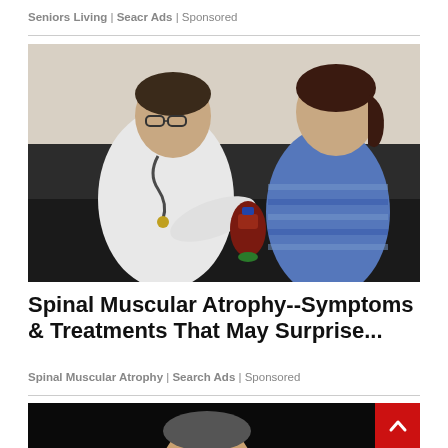Seniors Living | Seacr Ads | Sponsored
[Figure (photo): A doctor in a white coat and stethoscope showing a model organ to a young woman with a ponytail, both seated on a dark couch.]
Spinal Muscular Atrophy--Symptoms & Treatments That May Surprise...
Spinal Muscular Atrophy | Search Ads | Sponsored
[Figure (photo): Partial view of a person's face from below, dark background — bottom of page, cropped.]